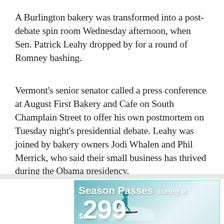A Burlington bakery was transformed into a post-debate spin room Wednesday afternoon, when Sen. Patrick Leahy dropped by for a round of Romney bashing.
Vermont's senior senator called a press conference at August First Bakery and Cafe on South Champlain Street to offer his own postmortem on Tuesday night's presidential debate. Leahy was joined by bakery owners Jodi Whalen and Phil Merrick, who said their small business has thrived during the Obama presidency.
[Figure (other): Advertisement banner for Season Passes starting at $299, showing a skier on a snowy slope with a teal/cyan color scheme.]